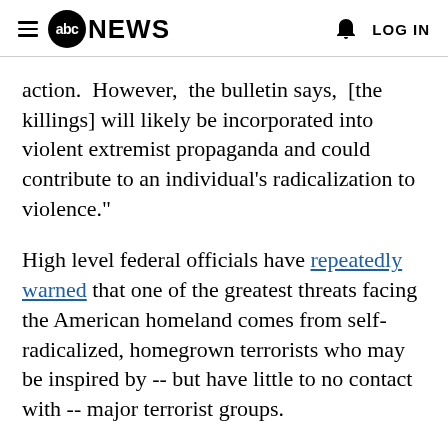abc NEWS  LOG IN
action. However, the bulletin says, [the killings] will likely be incorporated into violent extremist propaganda and could contribute to an individual's radicalization to violence."
High level federal officials have repeatedly warned that one of the greatest threats facing the American homeland comes from self-radicalized, homegrown terrorists who may be inspired by -- but have little to no contact with -- major terrorist groups.